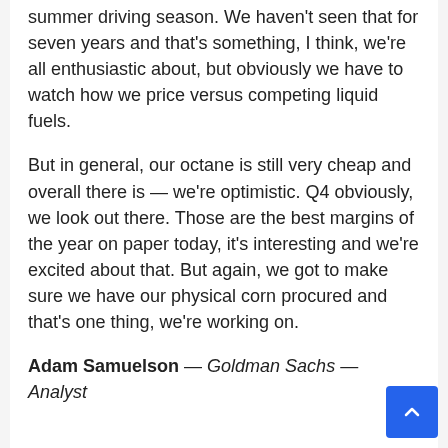summer driving season. We haven't seen that for seven years and that's something, I think, we're all enthusiastic about, but obviously we have to watch how we price versus competing liquid fuels.
But in general, our octane is still very cheap and overall there is — we're optimistic. Q4 obviously, we look out there. Those are the best margins of the year on paper today, it's interesting and we're excited about that. But again, we got to make sure we have our physical corn procured and that's one thing, we're working on.
Adam Samuelson — Goldman Sachs — Analyst